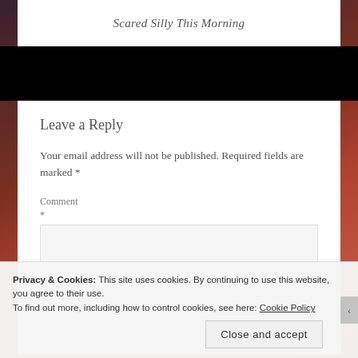Scared Silly This Morning
Leave a Reply
Your email address will not be published. Required fields are marked *
Comment *
Privacy & Cookies: This site uses cookies. By continuing to use this website, you agree to their use.
To find out more, including how to control cookies, see here: Cookie Policy
Close and accept